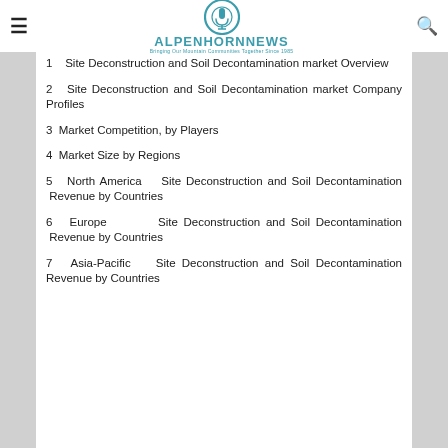ALPENHORNNEWS — Bringing Our Mountain Communities Together Since 1985
1   Site Deconstruction and Soil Decontamination market Overview
2   Site Deconstruction and Soil Decontamination market Company Profiles
3  Market Competition, by Players
4  Market Size by Regions
5  North America   Site Deconstruction and Soil Decontamination  Revenue by Countries
6   Europe       Site Deconstruction and Soil Decontamination  Revenue by Countries
7   Asia-Pacific   Site Deconstruction and Soil Decontamination Revenue by Countries